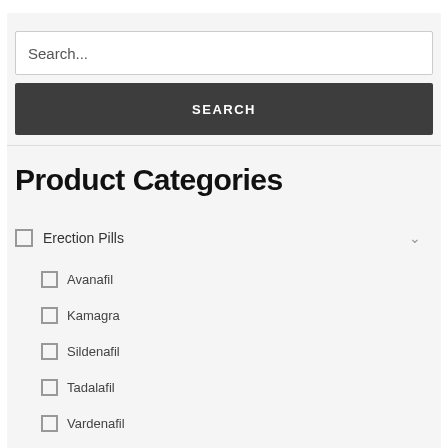Search...
SEARCH
Product Categories
Erection Pills
Avanafil
Kamagra
Sildenafil
Tadalafil
Vardenafil